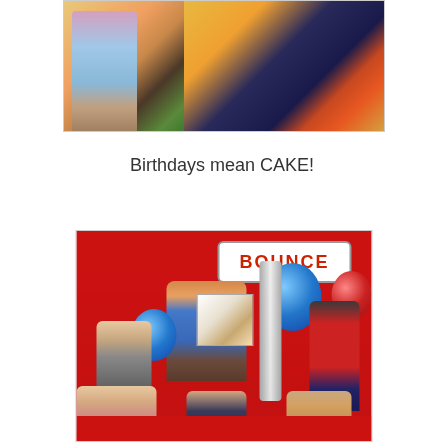[Figure (photo): Partial photo at top of page showing a person and colorful artwork/quilts on a table, cropped at the top]
Birthdays mean CAKE!
[Figure (photo): Photo of children at a birthday party at a Bounce facility. A woman holds a young child while surrounded by several children. Blue and red balloons are visible. A cake box is being held. The background shows red walls and a BOUNCE sign.]